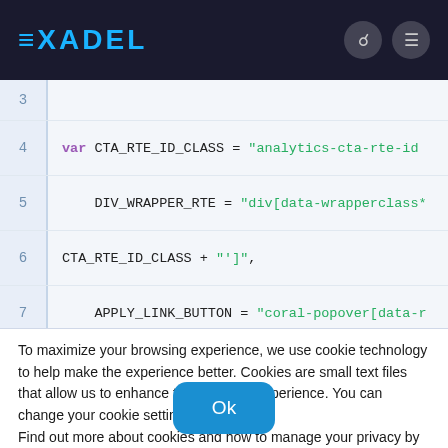[Figure (screenshot): Exadel website header with blue logo text and two icon circles (search and menu) on dark background]
[Figure (screenshot): Code editor snippet showing JavaScript variable declarations with line numbers 3-7. Line 4: var CTA_RTE_ID_CLASS = "analytics-cta-rte-id", Line 5: DIV_WRAPPER_RTE = "div[data-wrapperclass*", Line 6: CTA_RTE_ID_CLASS + "']",, Line 7: APPLY_LINK_BUTTON = "coral-popover[data-r]
To maximize your browsing experience, we use cookie technology to help make the experience better. Cookies are small text files that allow us to enhance the browsing experience. You can change your cookie settings at any time.
Find out more about cookies and how to manage your privacy by reviewing our Privacy Policy.